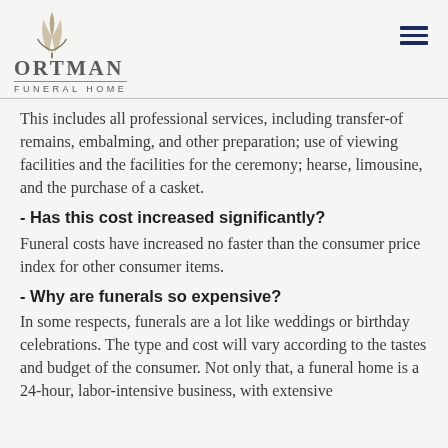[Figure (logo): Ortman Funeral Home logo with stylized lily flower above text]
This includes all professional services, including transfer-of remains, embalming, and other preparation; use of viewing facilities and the facilities for the ceremony; hearse, limousine, and the purchase of a casket.
- Has this cost increased significantly?
Funeral costs have increased no faster than the consumer price index for other consumer items.
- Why are funerals so expensive?
In some respects, funerals are a lot like weddings or birthday celebrations. The type and cost will vary according to the tastes and budget of the consumer. Not only that, a funeral home is a 24-hour, labor-intensive business, with extensive